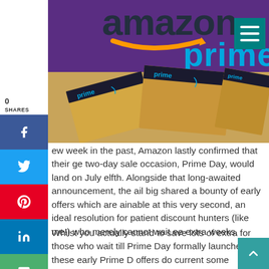[Figure (screenshot): Amazon Prime hero banner showing Amazon Prime logo on purple background above stacked Amazon Prime branded cardboard boxes]
ew week in the past, Amazon lastly confirmed that their ge two-day sale occasion, Prime Day, would land on July elfth. Alongside that long-awaited announcement, the ail big shared a bounty of early offers which are ainable at this very second, an ideal resolution for patient discount hunters (like me!) who merely cannot wait ee extra weeks.
Whilst you actually stand to save lots of extra for those who wait till Prime Day formally launches, these early Prime Day offers do current some glorious alternatives, notably for